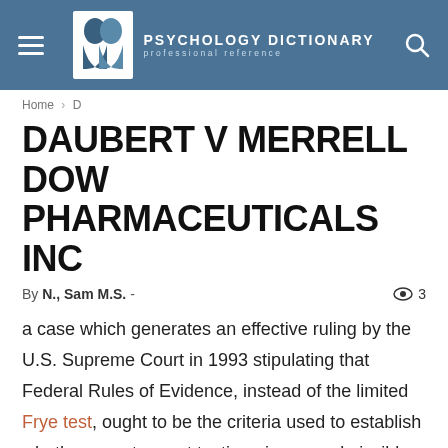PSYCHOLOGY DICTIONARY professional reference
Home › D
DAUBERT V MERRELL DOW PHARMACEUTICALS INC
By N., Sam M.S. -   3
a case which generates an effective ruling by the U.S. Supreme Court in 1993 stipulating that Federal Rules of Evidence, instead of the limited Frye test, ought to be the criteria used to establish whether or not expert testimonies are admissible.
DAUBERT V MERRELL DOW PHARMACEUTICALS